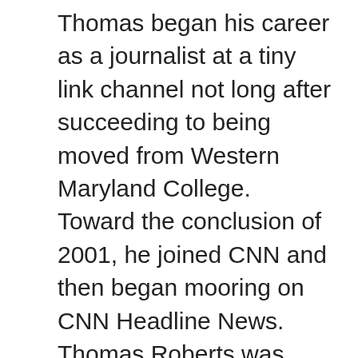Thomas began his career as a journalist at a tiny link channel not long after succeeding to being moved from Western Maryland College. Toward the conclusion of 2001, he joined CNN and then began mooring on CNN Headline News. Thomas Roberts was honored by having an Emmy Award mission in 2002 because of his evaluation regarding a nearby puppy procedure. He began impartial tying down to MSNBC in Nyc in late April 2010. Moreover, he tied MSNBC Live with Thomas Robert. He’s also a fill-in reporter that the weekday and several days of Now. Similarly, he showed up toward the end of this Marvel movie‘The Avengers’. He became the openly gay day news anchor on organizing TV at July 2015, when he tied NBC Nightly News to get a day. He’s an estimated net worth of $1.5 million and his own yearly